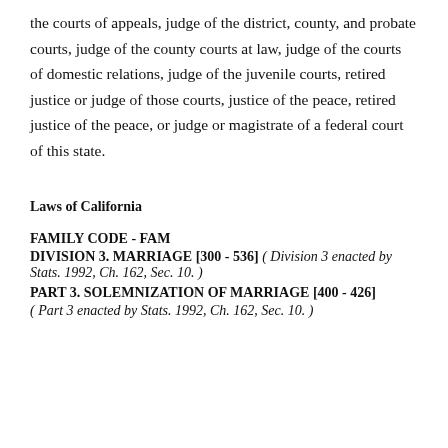the courts of appeals, judge of the district, county, and probate courts, judge of the county courts at law, judge of the courts of domestic relations, judge of the juvenile courts, retired justice or judge of those courts, justice of the peace, retired justice of the peace, or judge or magistrate of a federal court of this state.
Laws of California
FAMILY CODE - FAM
DIVISION 3. MARRIAGE [300 - 536] ( Division 3 enacted by Stats. 1992, Ch. 162, Sec. 10. )
PART 3. SOLEMNIZATION OF MARRIAGE [400 - 426]
( Part 3 enacted by Stats. 1992, Ch. 162, Sec. 10. )